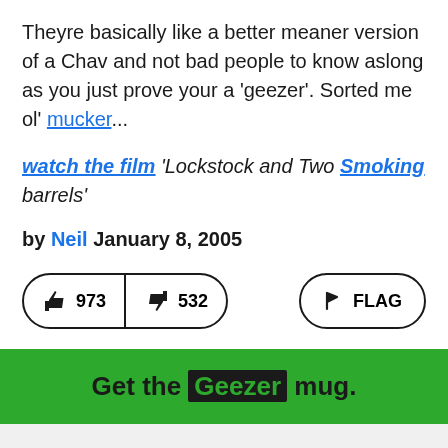Theyre basically like a better meaner version of a Chav and not bad people to know aslong as you just prove your a 'geezer'. Sorted me ol' mucker...
watch the film 'Lockstock and Two Smoking barrels'
by Neil January 8, 2005
973 upvotes, 532 downvotes, FLAG button
Get the Geezer mug.